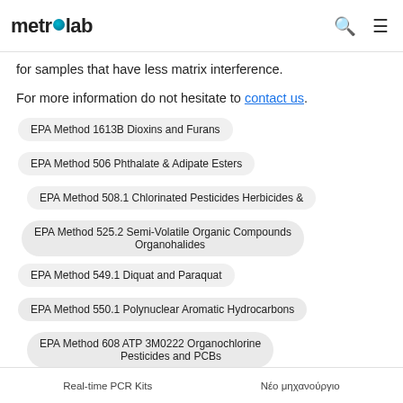metrolab
for samples that have less matrix interference.
For more information do not hesitate to contact us.
EPA Method 1613B Dioxins and Furans
EPA Method 506 Phthalate & Adipate Esters
EPA Method 508.1 Chlorinated Pesticides Herbicides & Organohalides
EPA Method 525.2 Semi-Volatile Organic Compounds
EPA Method 549.1 Diquat and Paraquat
EPA Method 550.1 Polynuclear Aromatic Hydrocarbons
EPA Method 608 ATP 3M0222 Organochlorine Pesticides and PCBs
sample preparation
Real-time PCR Kits   Νέο μηχανούργιο